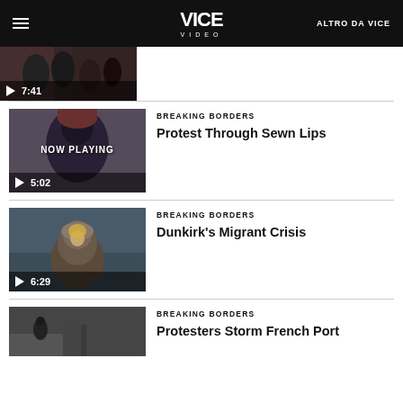VICE VIDEO | ALTRO DA VICE
[Figure (screenshot): Partially visible video thumbnail showing crowd scene, duration 7:41]
[Figure (screenshot): Video thumbnail NOW PLAYING - Protest Through Sewn Lips, duration 5:02, category: BREAKING BORDERS]
BREAKING BORDERS
Protest Through Sewn Lips
[Figure (screenshot): Video thumbnail - Dunkirk's Migrant Crisis, duration 6:29, category: BREAKING BORDERS]
BREAKING BORDERS
Dunkirk's Migrant Crisis
[Figure (screenshot): Partially visible video thumbnail - Protesters Storm French Port, category: BREAKING BORDERS]
BREAKING BORDERS
Protesters Storm French Port